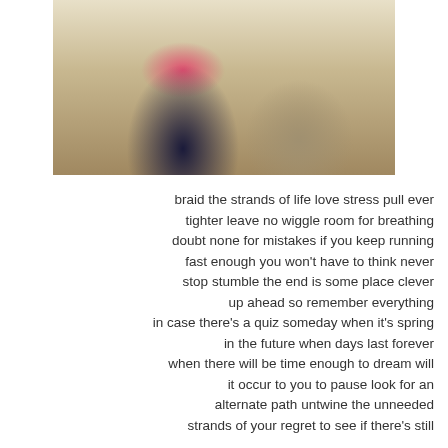[Figure (photo): Two people seated at a wooden table, one wearing a pink/red top and dark jeans, the other in lighter clothing. A colorful tablecloth or game board is visible on the table.]
braid the strands of life love stress pull ever tighter leave no wiggle room for breathing doubt none for mistakes if you keep running fast enough you won't have to think never stop stumble the end is some place clever up ahead so remember everything in case there's a quiz someday when it's spring in the future when days last forever when there will be time enough to dream will it occur to you to pause look for an alternate path untwine the unneeded strands of your regret to see if there's still